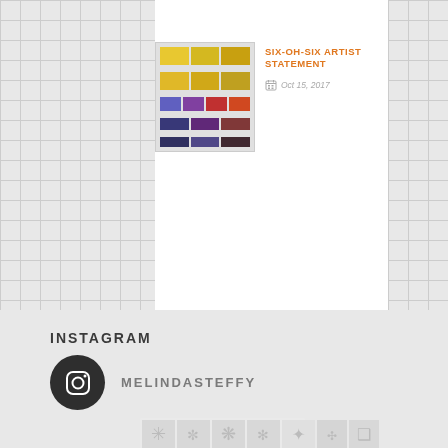[Figure (photo): Thumbnail image of colorful grid squares with yellow, blue, red color swatches arranged in rows]
SIX-OH-SIX ARTIST STATEMENT
Oct 15, 2017
INSTAGRAM
MELINDASTEFFY
[Figure (screenshot): Instagram grid showing quilt pattern icons/snowflake symbols in light grey on white background tiles]